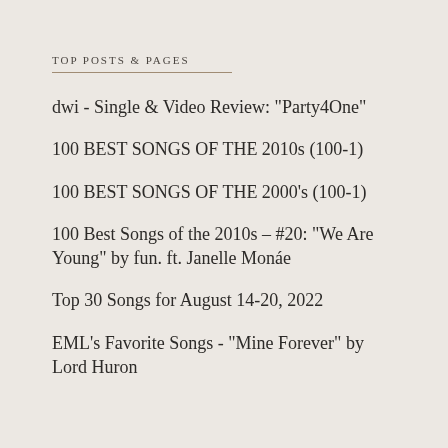TOP POSTS & PAGES
dwi - Single & Video Review: "Party4One"
100 BEST SONGS OF THE 2010s (100-1)
100 BEST SONGS OF THE 2000's (100-1)
100 Best Songs of the 2010s – #20: "We Are Young" by fun. ft. Janelle Monáe
Top 30 Songs for August 14-20, 2022
EML's Favorite Songs - "Mine Forever" by Lord Huron